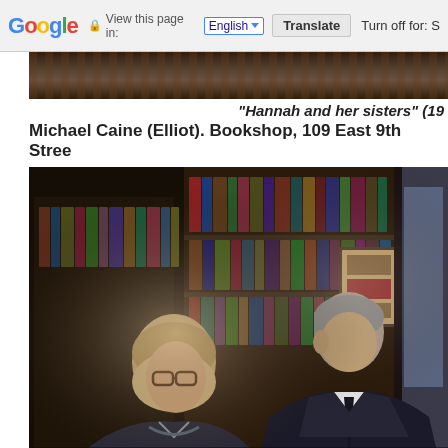Google | View this page in: English | Translate | Turn off for: S
[Figure (photo): Partial top of a film still showing dark bookshop interior]
"Hannah and her sisters" (19... Michael Caine (Elliot). Bookshop, 109 East 9th Stree...
[Figure (photo): Film still from 'Hannah and Her Sisters' showing two people in a bookshop, one with glasses and one tall man in a dark suit, with bookshelves in the background]